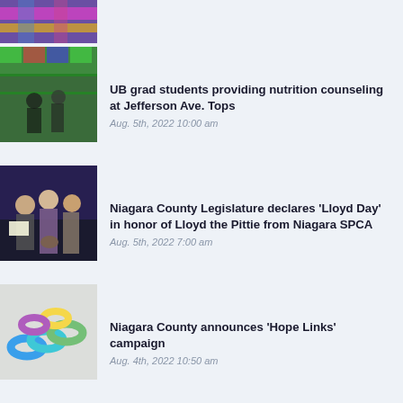[Figure (photo): Partial view of colorful signs/banners (top, cropped)]
[Figure (photo): People in a grocery store, UB grad students providing nutrition counseling]
UB grad students providing nutrition counseling at Jefferson Ave. Tops
Aug. 5th, 2022 10:00 am
[Figure (photo): Group of people posing with a dog at an event]
Niagara County Legislature declares 'Lloyd Day' in honor of Lloyd the Pittie from Niagara SPCA
Aug. 5th, 2022 7:00 am
[Figure (photo): Colorful paper chain links in various colors]
Niagara County announces 'Hope Links' campaign
Aug. 4th, 2022 10:50 am
[Figure (photo): Building exterior with accessibility icon overlay]
$5.2 million restoration of Frontier House aided by National Grid economic development grant